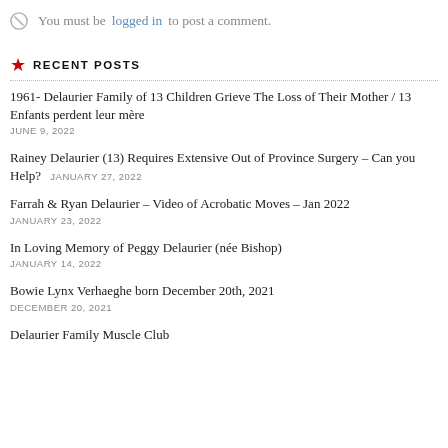🚫 You must be logged in to post a comment.
★ RECENT POSTS
1961- Delaurier Family of 13 Children Grieve The Loss of Their Mother / 13 Enfants perdent leur mère
JUNE 9, 2022
Rainey Delaurier (13) Requires Extensive Out of Province Surgery – Can you Help? JANUARY 27, 2022
Farrah & Ryan Delaurier – Video of Acrobatic Moves – Jan 2022
JANUARY 23, 2022
In Loving Memory of Peggy Delaurier (née Bishop)
JANUARY 14, 2022
Bowie Lynx Verhaeghe born December 20th, 2021
DECEMBER 20, 2021
Delaurier Family Muscle Club